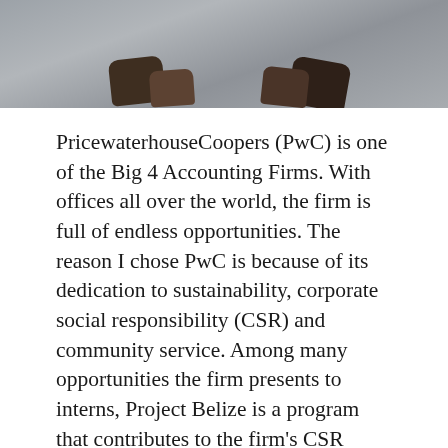[Figure (photo): Cropped photo showing feet/sandals from above, outdoor pavement background]
PricewaterhouseCoopers (PwC) is one of the Big 4 Accounting Firms. With offices all over the world, the firm is full of endless opportunities. The reason I chose PwC is because of its dedication to sustainability, corporate social responsibility (CSR) and community service. Among many opportunities the firm presents to interns, Project Belize is a program that contributes to the firm's CSR initiatives.
Since 2008, Project Belize has sent PwC interns, partners, and staff to Belize City, Belize to teach financial literacy to elementary school, middle school, and high school students as well as to teachers and members of the Belizean Ministry of Education. The